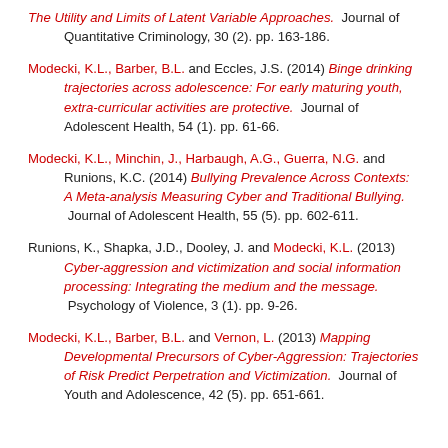The Utility and Limits of Latent Variable Approaches. Journal of Quantitative Criminology, 30 (2). pp. 163-186.
Modecki, K.L., Barber, B.L. and Eccles, J.S. (2014) Binge drinking trajectories across adolescence: For early maturing youth, extra-curricular activities are protective. Journal of Adolescent Health, 54 (1). pp. 61-66.
Modecki, K.L., Minchin, J., Harbaugh, A.G., Guerra, N.G. and Runions, K.C. (2014) Bullying Prevalence Across Contexts: A Meta-analysis Measuring Cyber and Traditional Bullying. Journal of Adolescent Health, 55 (5). pp. 602-611.
Runions, K., Shapka, J.D., Dooley, J. and Modecki, K.L. (2013) Cyber-aggression and victimization and social information processing: Integrating the medium and the message. Psychology of Violence, 3 (1). pp. 9-26.
Modecki, K.L., Barber, B.L. and Vernon, L. (2013) Mapping Developmental Precursors of Cyber-Aggression: Trajectories of Risk Predict Perpetration and Victimization. Journal of Youth and Adolescence, 42 (5). pp. 651-661.